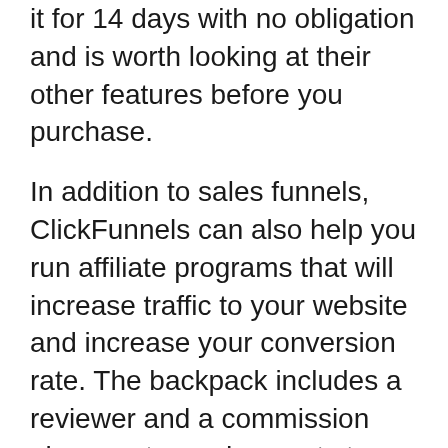it for 14 days with no obligation and is worth looking at their other features before you purchase.
In addition to sales funnels, ClickFunnels can also help you run affiliate programs that will increase traffic to your website and increase your conversion rate. The backpack includes a reviewer and a commission plan creator and payouts to affiliates. With just a few clicks you can make payments to your affiliates. Affiliates are paid only in the event that they bring in an order for you. This way, you'll be able to increase your earnings with minimum effort.
Kartra
When you are evaluating sales funnel